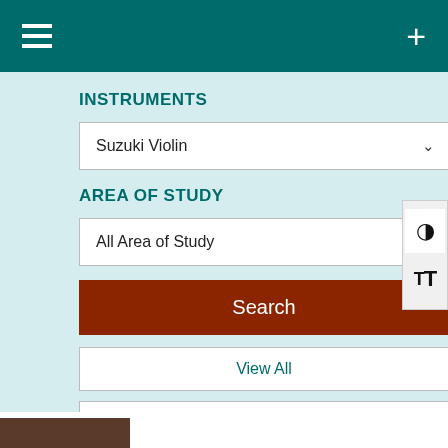≡   +
INSTRUMENTS
Suzuki Violin
AREA OF STUDY
All Area of Study
Search
View All
Reset